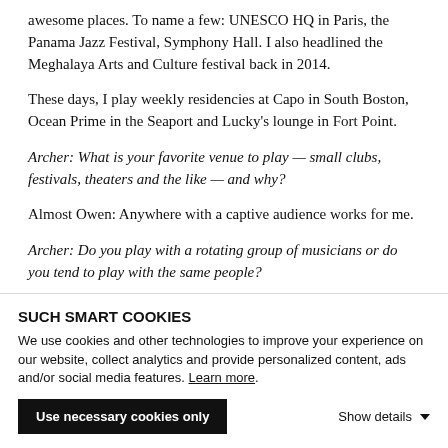awesome places. To name a few: UNESCO HQ in Paris, the Panama Jazz Festival, Symphony Hall. I also headlined the Meghalaya Arts and Culture festival back in 2014.
These days, I play weekly residencies at Capo in South Boston, Ocean Prime in the Seaport and Lucky's lounge in Fort Point.
Archer: What is your favorite venue to play — small clubs, festivals, theaters and the like — and why?
Almost Owen: Anywhere with a captive audience works for me.
Archer: Do you play with a rotating group of musicians or do you tend to play with the same people?
Almost Owen: My first year back in Boston, I played more than
SUCH SMART COOKIES
We use cookies and other technologies to improve your experience on our website, collect analytics and provide personalized content, ads and/or social media features. Learn more.
Use necessary cookies only
Show details